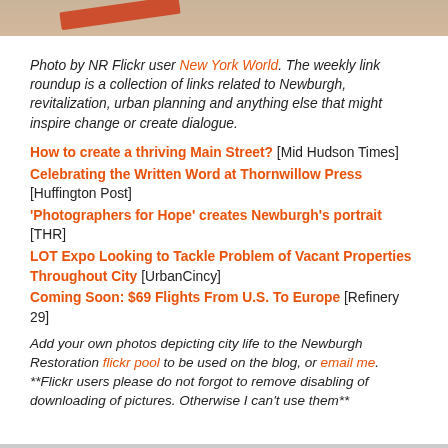[Figure (photo): Partial photo strip at top of page showing a reddish/earthy toned image, likely a street or wall scene.]
Photo by NR Flickr user New York World. The weekly link roundup is a collection of links related to Newburgh, revitalization, urban planning and anything else that might inspire change or create dialogue.
How to create a thriving Main Street? [Mid Hudson Times]
Celebrating the Written Word at Thornwillow Press [Huffington Post]
'Photographers for Hope' creates Newburgh's portrait [THR]
LOT Expo Looking to Tackle Problem of Vacant Properties Throughout City [UrbanCincy]
Coming Soon: $69 Flights From U.S. To Europe [Refinery 29]
Add your own photos depicting city life to the Newburgh Restoration flickr pool to be used on the blog, or email me. **Flickr users please do not forgot to remove disabling of downloading of pictures. Otherwise I can't use them**